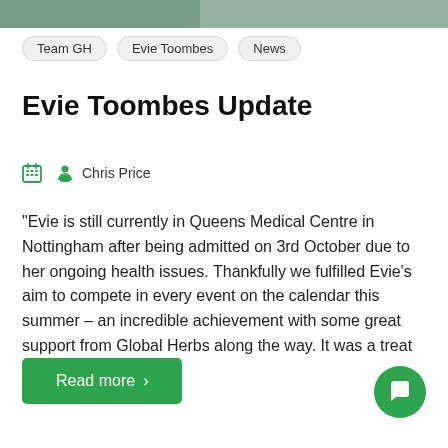[Figure (photo): Cropped top strip of a photo, partially visible]
Team GH
Evie Toombes
News
Evie Toombes Update
Chris Price
“Evie is still currently in Queens Medical Centre in Nottingham after being admitted on 3rd October due to her ongoing health issues. Thankfully we fulfilled Evie’s aim to compete in every event on the calendar this summer – an incredible achievement with some great support from Global Herbs along the way. It was a treat [...]
Read more >